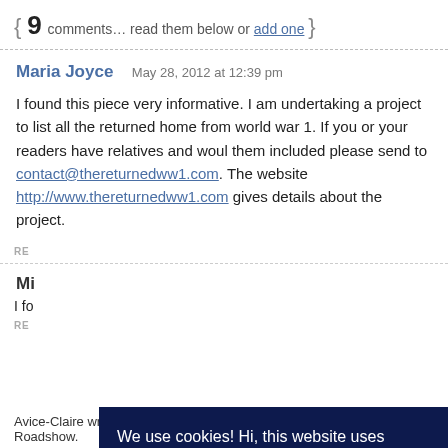{ 9 comments… read them below or add one }
Maria Joyce   May 28, 2012 at 12:39 pm
I found this piece very informative. I am undertaking a project to list all the returned home from world war 1. If you or your readers have relatives and woul them included please send to contact@thereturnedww1.com. The website http://www.thereturnedww1.com gives details about the project.
RE
Mi
I fo
RE
Avice-Claire wrote about Jack Jenkinson because of our WWI Roadshow.
We use cookies! Hi, this website uses essential cookies to ensure its proper operation and tracking cookies to understand how you interact with it. The latter will be set only after consent More Details...
Reject All
Accept All